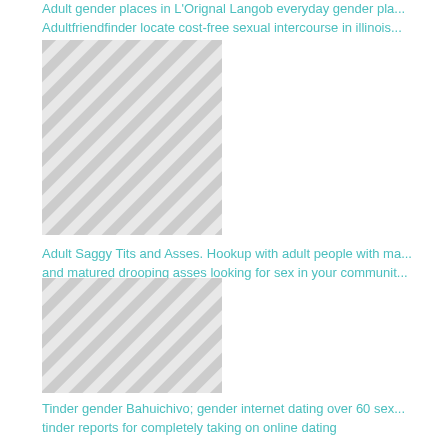Adult gender places in L'Orignal Langob everyday gender pla... Adultfriendfinder locate cost-free sexual intercourse in illinois...
[Figure (illustration): Diagonal grey and white striped rectangle, placeholder image]
Adult Saggy Tits and Asses. Hookup with adult people with ma... and matured drooping asses looking for sex in your communit...
[Figure (illustration): Diagonal grey and white striped rectangle, placeholder image]
Tinder gender Bahuichivo; gender internet dating over 60 sex... tinder reports for completely taking on online dating